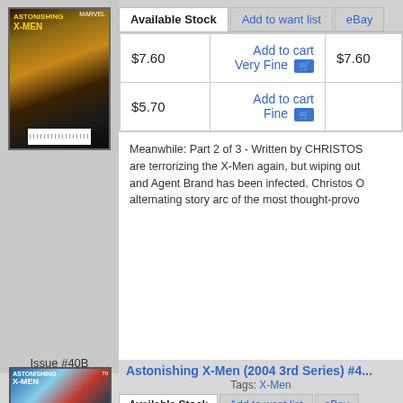[Figure (illustration): Comic book cover for Astonishing X-Men, dark fantasy character with glowing eyes]
| Price | Action | eBay Price |
| --- | --- | --- |
| $7.60 | Add to cart
Very Fine | $7.60 |
| $5.70 | Add to cart
Fine |  |
Meanwhile: Part 2 of 3 - Written by CHRISTOS... are terrorizing the X-Men again, but wiping out... and Agent Brand has been infected. Christos O... alternating story arc of the most thought-provo...
Issue #40B
[Figure (illustration): Comic book cover for Astonishing X-Men issue 70, featuring Captain America character with a truck]
Astonishing X-Men (2004 3rd Series) #4...
Tags: X-Men
This item is not in stock at MyComicShop. If yo... when it becomes available.
Limited 1 for 20 I AM CAPTAIN AMERICA Vari...